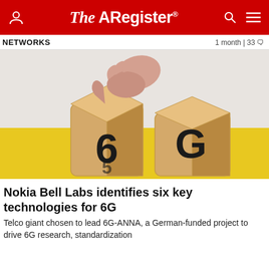The Register
NETWORKS | 1 month | 33 comments
[Figure (photo): A hand placing a wooden block showing '6' on top of a block showing '5', next to another block showing 'G', on a yellow surface. The image represents the transition from 5G to 6G technology.]
Nokia Bell Labs identifies six key technologies for 6G
Telco giant chosen to lead 6G-ANNA, a German-funded project to drive 6G research, standardization